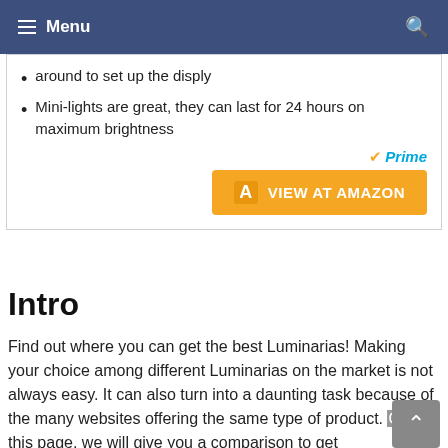Menu
around to set up the disply
Mini-lights are great, they can last for 24 hours on maximum brightness
[Figure (other): Amazon Prime badge and VIEW AT AMAZON orange button]
Intro
Find out where you can get the best Luminarias! Making your choice among different Luminarias on the market is not always easy. It can also turn into a daunting task because of the many websites offering the same type of product. On this page, we will give you a comparison to get